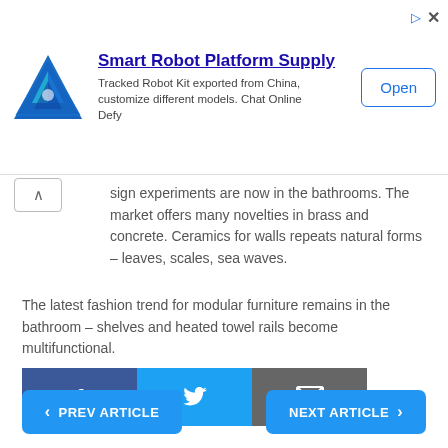[Figure (screenshot): Advertisement banner for Smart Robot Platform Supply showing a logo, title, description text, and an Open button]
sign experiments are now in the bathrooms. The market offers many novelties in brass and concrete. Ceramics for walls repeats natural forms – leaves, scales, sea waves.
The latest fashion trend for modular furniture remains in the bathroom – shelves and heated towel rails become multifunctional.
[Figure (infographic): Social share buttons: Facebook (blue), Twitter (light blue), Email (gray)]
[Figure (infographic): Navigation buttons: PREV ARTICLE (left) and NEXT ARTICLE (right), both blue with chevron arrows]